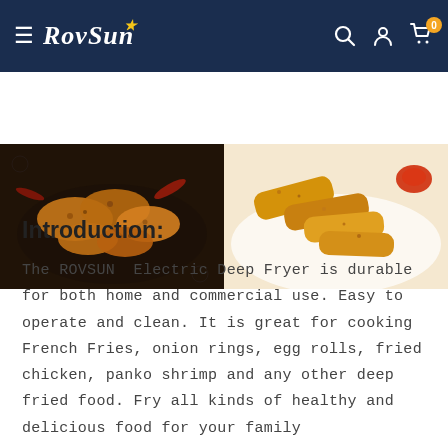RovSun — navigation bar with hamburger menu, logo, search, account, and cart (0 items)
[Figure (photo): Two food photos side by side: left shows crispy fried chicken pieces on a dark plate with dried chili peppers; right shows golden breaded chicken strips/shrimp on a white plate with red sauce.]
Introduction:
The ROVSUN  Electric Deep Fryer is durable for both home and commercial use. Easy to operate and clean. It is great for cooking French Fries, onion rings, egg rolls, fried chicken, panko shrimp and any other deep fried food. Fry all kinds of healthy and delicious food for your family
Features: